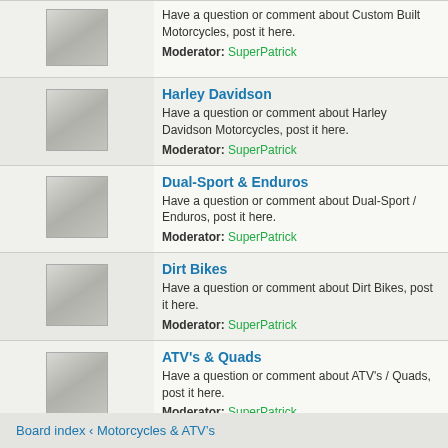| Icon | Forum |
| --- | --- |
| [icon] | Harley Davidson
Have a question or comment about Harley Davidson Motorcycles, post it here.
Moderator: SuperPatrick |
| [icon] | Dual-Sport & Enduros
Have a question or comment about Dual-Sport / Enduros, post it here.
Moderator: SuperPatrick |
| [icon] | Dirt Bikes
Have a question or comment about Dirt Bikes, post it here.
Moderator: SuperPatrick |
| [icon] | ATV's & Quads
Have a question or comment about ATV's / Quads, post it here.
Moderator: SuperPatrick |
| [icon] | Mini Bikes & Pocket Bikes
Have a question or comment about Mini Bikes and Pocket Bikes, post it here.
Moderator: SuperPatrick |
| [icon] | Scooters
Have a question or comment about Scooters, post it here.
Moderator: SuperPatrick |
Board index ‹ Motorcycles & ATV’s